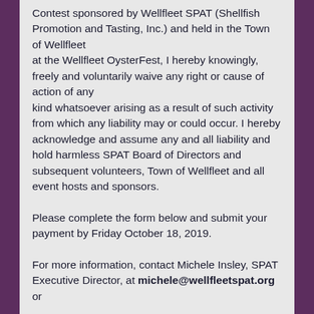Contest sponsored by Wellfleet SPAT (Shellfish Promotion and Tasting, Inc.) and held in the Town of Wellfleet at the Wellfleet OysterFest, I hereby knowingly, freely and voluntarily waive any right or cause of action of any kind whatsoever arising as a result of such activity from which any liability may or could occur. I hereby acknowledge and assume any and all liability and hold harmless SPAT Board of Directors and subsequent volunteers, Town of Wellfleet and all event hosts and sponsors.
Please complete the form below and submit your payment by Friday October 18, 2019.
For more information, contact Michele Insley, SPAT Executive Director, at michele@wellfleetspat.org or